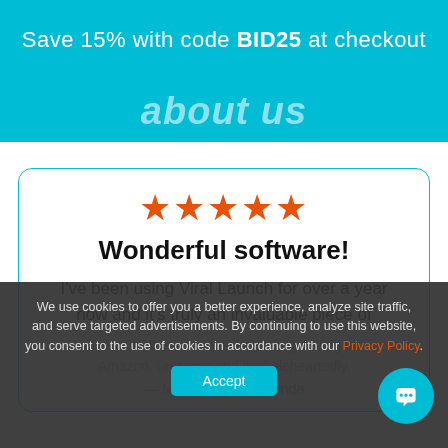Save 15% with code BID25 at checkout
about us
Wonderful software!
I've been using Viral Launch for over a year now and it's truly an invaluable piece of software. If you are just beginning selling on Amazon, I recommend it wholeheartedly.
— Mia Rajee Damiconda
We use cookies to offer you a better experience, analyze site traffic, and serve targeted advertisements. By continuing to use this website, you consent to the use of cookies in accordance with our Privacy Policy.
Accept